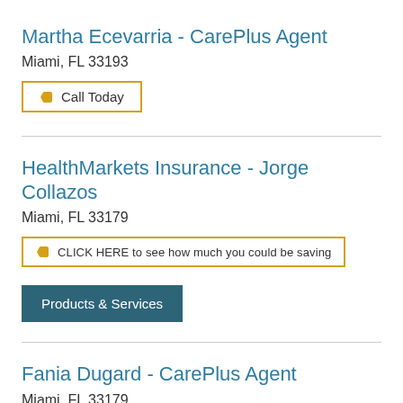Martha Ecevarria - CarePlus Agent
Miami, FL 33193
Call Today
HealthMarkets Insurance - Jorge Collazos
Miami, FL 33179
CLICK HERE to see how much you could be saving
Products & Services
Fania Dugard - CarePlus Agent
Miami, FL 33179
Call Today